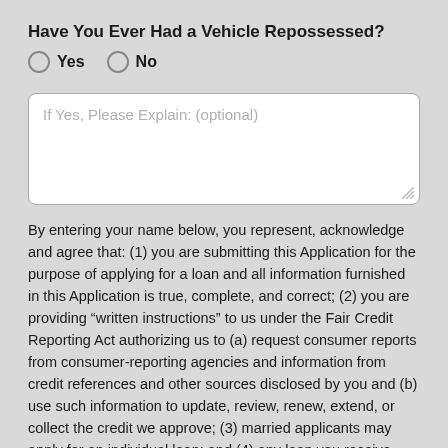Have You Ever Had a Vehicle Repossessed?
Yes
No
If Yes, Please Explain: (optional)
By entering your name below, you represent, acknowledge and agree that: (1) you are submitting this Application for the purpose of applying for a loan and all information furnished in this Application is true, complete, and correct; (2) you are providing “written instructions” to us under the Fair Credit Reporting Act authorizing us to (a) request consumer reports from consumer-reporting agencies and information from credit references and other sources disclosed by you and (b) use such information to update, review, renew, extend, or collect the credit we approve; (3) married applicants may apply for an individual loan; and (4) any loan you receive from us will be used only for personal, family or household purposes. You have the right to request that we inform you of the name and address of each consumer-reporting agency from which we obtain a consumer report on you in connection with this Application. You further acknowledge and agree that typing your name below constitutes your